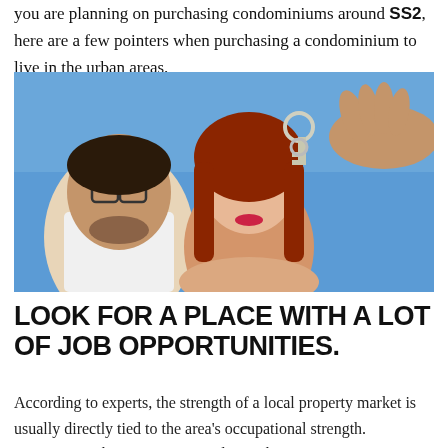you are planning on purchasing condominiums around SS2, here are a few pointers when purchasing a condominium to live in the urban areas.
[Figure (photo): A couple receiving house keys from a third person, photographed from a low angle against a blue sky background.]
LOOK FOR A PLACE WITH A LOT OF JOB OPPORTUNITIES.
According to experts, the strength of a local property market is usually directly tied to the area's occupational strength. However, as they point out, condo purchasers